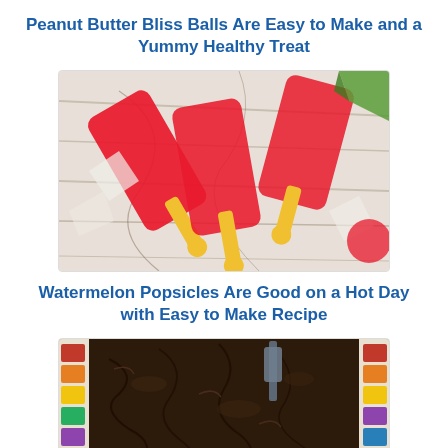Peanut Butter Bliss Balls Are Easy to Make and a Yummy Healthy Treat
[Figure (photo): Watermelon popsicles with yellow sticks arranged on ice]
Watermelon Popsicles Are Good on a Hot Day with Easy to Make Recipe
[Figure (photo): Dark chocolate brownie or fudge in a colorful mosaic tile dish]